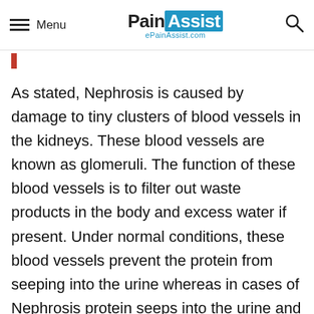Menu | PainAssist ePainAssist.com
As stated, Nephrosis is caused by damage to tiny clusters of blood vessels in the kidneys. These blood vessels are known as glomeruli. The function of these blood vessels is to filter out waste products in the body and excess water if present. Under normal conditions, these blood vessels prevent the protein from seeping into the urine whereas in cases of Nephrosis protein seeps into the urine and goes out of the body resulting in protein deficiency. Now the question is what can damage these blood vessels or what is medically called as glomeruli. There are many disease